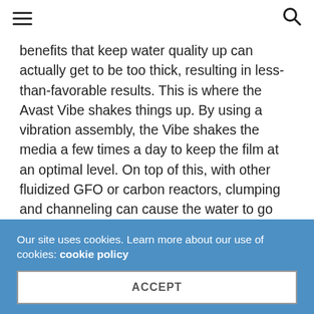≡  🔍
benefits that keep water quality up can actually get to be too thick, resulting in less-than-favorable results. This is where the Avast Vibe shakes things up. By using a vibration assembly, the Vibe shakes the media a few times a day to keep the film at an optimal level. On top of this, with other fluidized GFO or carbon reactors, clumping and channeling can cause the water to go through the path of least resistance. Increasing water flow can cause the media to break apart so vibrating can keep things from getting too settled and increase exposure time to leverage the reactors filtration capabilities.
Our site uses cookies. Learn more about our use of cookies: cookie policy
ACCEPT